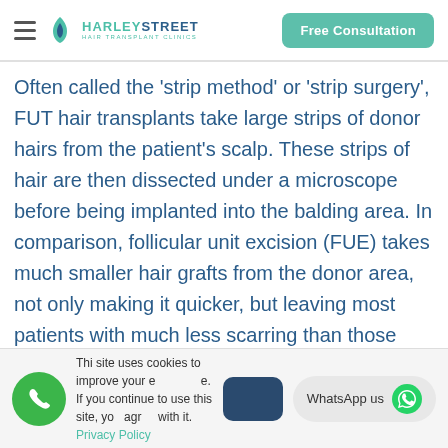HARLEYSTREET HAIR TRANSPLANT CLINICS — Free Consultation
Often called the 'strip method' or 'strip surgery', FUT hair transplants take large strips of donor hairs from the patient's scalp. These strips of hair are then dissected under a microscope before being implanted into the balding area. In comparison, follicular unit excision (FUE) takes much smaller hair grafts from the donor area, not only making it quicker, but leaving most patients with much less scarring than those who have undergone FUT.
This site uses cookies to improve your experience. If you continue to use this site, you agree with it. Privacy Policy